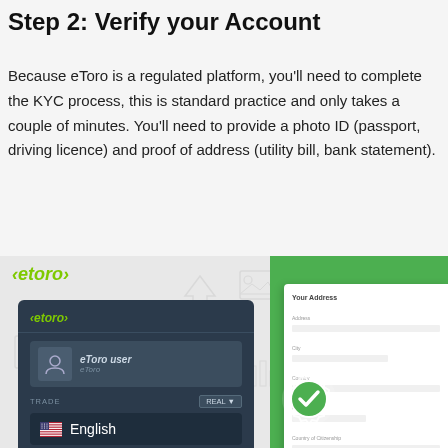Step 2: Verify your Account
Because eToro is a regulated platform, you'll need to complete the KYC process, this is standard practice and only takes a couple of minutes. You'll need to provide a photo ID (passport, driving licence) and proof of address (utility bill, bank statement).
[Figure (screenshot): Screenshot of eToro account verification interface showing the eToro logo, a dark-themed mobile app UI with eToro user profile and English language selection, alongside a green-themed verification form with a checkmark badge.]